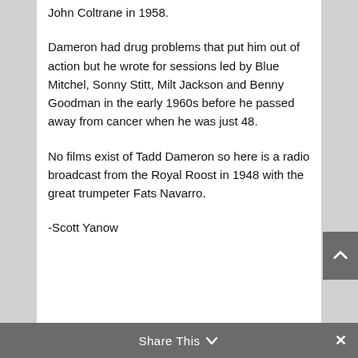John Coltrane in 1958.
Dameron had drug problems that put him out of action but he wrote for sessions led by Blue Mitchel, Sonny Stitt, Milt Jackson and Benny Goodman in the early 1960s before he passed away from cancer when he was just 48.
No films exist of Tadd Dameron so here is a radio broadcast from the Royal Roost in 1948 with the great trumpeter Fats Navarro.
-Scott Yanow
Share This ∨  ✕